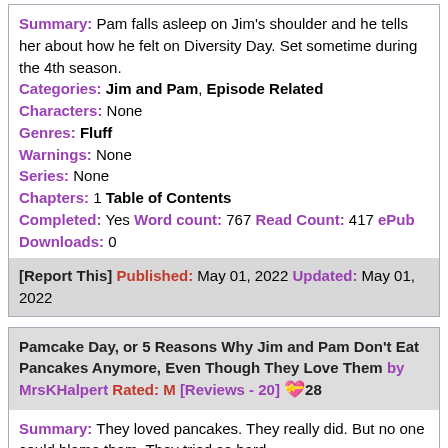Summary: Pam falls asleep on Jim's shoulder and he tells her about how he felt on Diversity Day. Set sometime during the 4th season. Categories: Jim and Pam, Episode Related Characters: None Genres: Fluff Warnings: None Series: None Chapters: 1 Table of Contents Completed: Yes Word count: 767 Read Count: 417 ePub Downloads: 0
[Report This] Published: May 01, 2022 Updated: May 01, 2022
Pamcake Day, or 5 Reasons Why Jim and Pam Don't Eat Pancakes Anymore, Even Though They Love Them by MrsKHalpert Rated: M [Reviews - 20] 28
Summary: They loved pancakes. They really did. But no one could blame them. They tried so hard. Categories: Jim and Pam, Episode Related Characters: Jim, Jim/Pam, Other, Pam Genres: Fluff, Holiday, Humor, Weekend Warnings: Adult language, Moderate sexual content